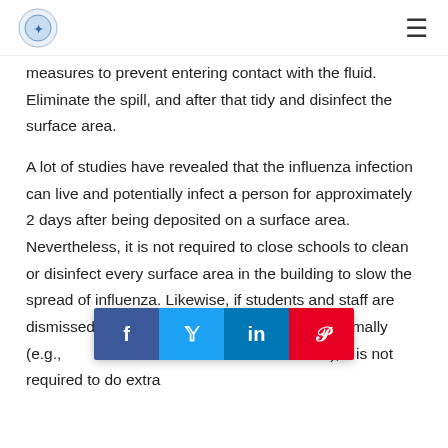[Logo] [Hamburger menu]
measures to prevent entering contact with the fluid. Eliminate the spill, and after that tidy and disinfect the surface area.
A lot of studies have revealed that the influenza infection can live and potentially infect a person for approximately 2 days after being deposited on a surface area. Nevertheless, it is not required to close schools to clean or disinfect every surface area in the building to slow the spread of influenza. Likewise, if students and staff are dismissed because the school can not work normally (e.g., without an influenza outbreak), it is not required to do extra
[Figure (infographic): Social share bar with Facebook (blue), Twitter (light blue), LinkedIn (blue), Pinterest (red) buttons]